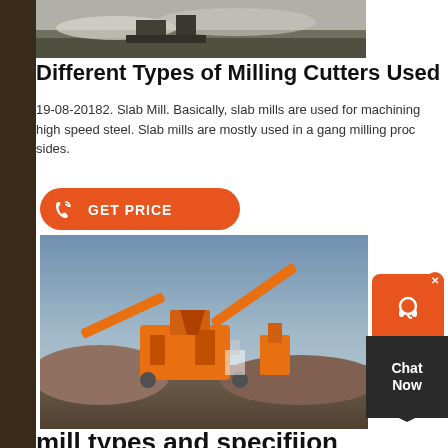[Figure (photo): Aerial view of a mining or quarry site with heavy equipment and snow-covered terrain]
Different Types of Milling Cutters Used
19-08-20182. Slab Mill. Basically, slab mills are used for machining high speed steel. Slab mills are mostly used in a gang milling process sides.
[Figure (other): Orange GET PRICE button with phone icon]
[Figure (photo): Industrial quarry/crushing plant with orange machinery, conveyor belts, and aggregate piles]
mill types and specifiion
specifiion of a cement plant mill . raw mill cement plant whiteysc that A limestone quarry is inside the plant area and a clays quarry